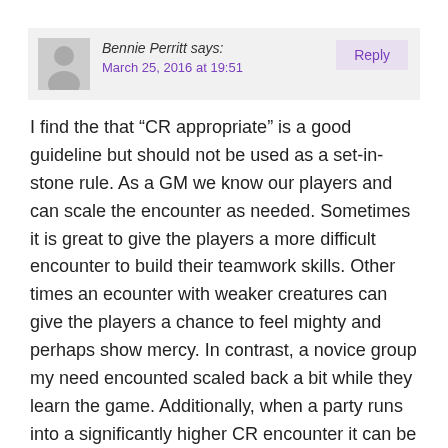Bennie Perritt says: March 25, 2016 at 19:51
I find the that “CR appropriate” is a good guideline but should not be used as a set-in-stone rule. As a GM we know our players and can scale the encounter as needed. Sometimes it is great to give the players a more difficult encounter to build their teamwork skills. Other times an ecounter with weaker creatures can give the players a chance to feel mighty and perhaps show mercy. In contrast, a novice group my need encounted scaled back a bit while they learn the game. Additionally, when a party runs into a significantly higher CR encounter it can be a great time for roleplay as the characters try to escape, talk their way out of a fight, bargain with the